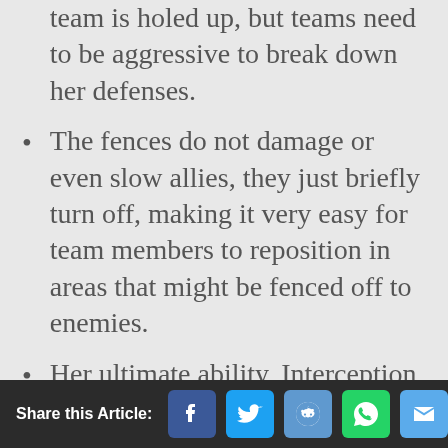team is holed up, but teams need to be aggressive to break down her defenses.
The fences do not damage or even slow allies, they just briefly turn off, making it very easy for team members to reposition in areas that might be fenced off to enemies.
Her ultimate ability, Interception Pylon, recharges the shields of players within its area of effect and also shoots down incoming projectiles like grenades or even missiles from Bangalore/Gibraltar's ultimates. Combine this with some electric
Share this Article: [Facebook] [Twitter] [Reddit] [WhatsApp] [Email]